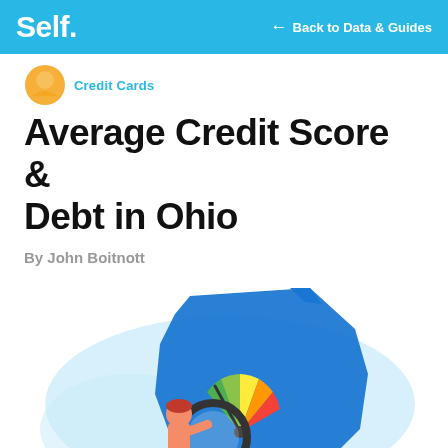Self. ← Back to Data & Guides
Average Credit Score & Debt in Ohio
By John Boitnott
[Figure (illustration): Illustration of a person holding a magnifying glass over a credit score gauge (green, yellow, orange, red segments) overlaid on a blue silhouette map of Ohio, with a light blue cloud-like background shape]